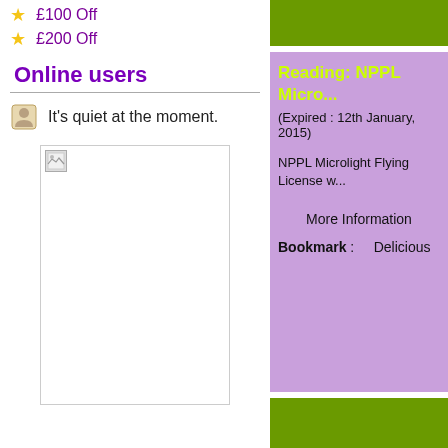£100 Off
£200 Off
Online users
It's quiet at the moment.
[Figure (photo): Broken image placeholder]
Reading: NPPL Micro...
(Expired : 12th January, 2015)
NPPL Microlight Flying License w...
More Information
Bookmark : Delicious